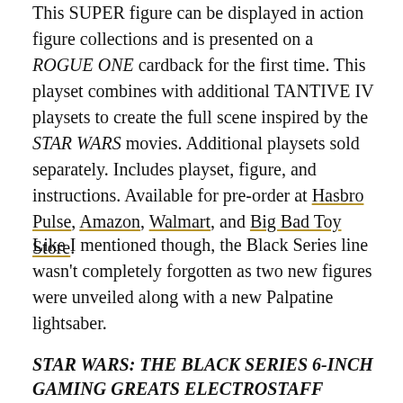This SUPER figure can be displayed in action figure collections and is presented on a ROGUE ONE cardback for the first time. This playset combines with additional TANTIVE IV playsets to create the full scene inspired by the STAR WARS movies. Additional playsets sold separately. Includes playset, figure, and instructions. Available for pre-order at Hasbro Pulse, Amazon, Walmart, and Big Bad Toy Store.
Like I mentioned though, the Black Series line wasn't completely forgotten as two new figures were unveiled along with a new Palpatine lightsaber.
STAR WARS: THE BLACK SERIES 6-INCH GAMING GREATS ELECTROSTAFF PURGE TROOPER Figure